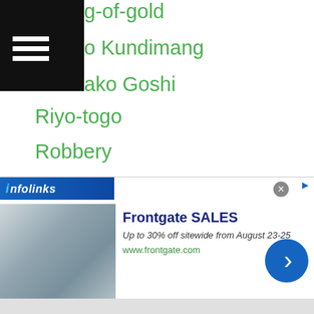g-of-gold
o Kundimang
ako Goshi
Riyo-togo
Robbery
Roberto Gonzalez
Robert Onggocan
Robert Paradero
Robert Udtohan
Robert Yamamoto
Rocky Fuentes
Rodynie Rafol
Ro Joon Suh
Roland Jay Biendima
Rolando-bohol
Rolando Servania
[Figure (screenshot): Infolinks advertisement banner for Frontgate SALES — Up to 30% off sitewide from August 23-25, www.frontgate.com, with bedroom furniture image and blue circle arrow button.]